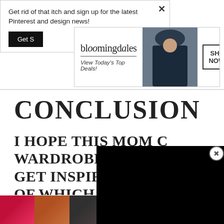Get rid of that itch and sign up for the latest Pinterest and design news!
[Figure (screenshot): Bloomingdales advertisement banner: logo, 'View Today's Top Deals!', woman in hat photo, SHOP NOW > button]
CONCLUSION
I HOPE THIS MOM WARDROBE ARTICLE GET INSPIRED, AND OF WHICH PIECES COULD WORK FOR YOU.
[Figure (screenshot): Black video player popup overlay with close (X) button]
You sho... stylish
[Figure (screenshot): Ulta beauty advertisement banner with close button, showing makeup imagery and SHOP NOW button]